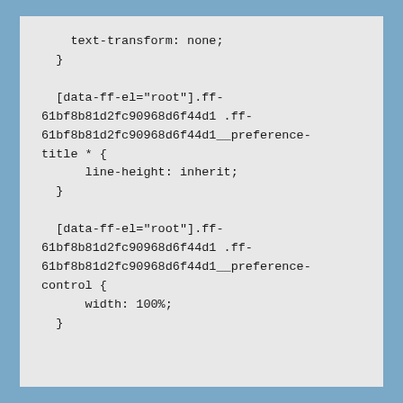text-transform: none;
  }

  [data-ff-el="root"].ff-61bf8b81d2fc90968d6f44d1 .ff-61bf8b81d2fc90968d6f44d1__preference-title * {
      line-height: inherit;
  }

  [data-ff-el="root"].ff-61bf8b81d2fc90968d6f44d1 .ff-61bf8b81d2fc90968d6f44d1__preference-control {
      width: 100%;
  }